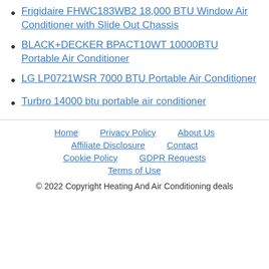Frigidaire FHWC183WB2 18,000 BTU Window Air Conditioner with Slide Out Chassis
BLACK+DECKER BPACT10WT 10000BTU Portable Air Conditioner
LG LP0721WSR 7000 BTU Portable Air Conditioner
Turbro 14000 btu portable air conditioner
Home | Privacy Policy | About Us | Affiliate Disclosure | Contact | Cookie Policy | GDPR Requests | Terms of Use
© 2022 Copyright Heating And Air Conditioning deals